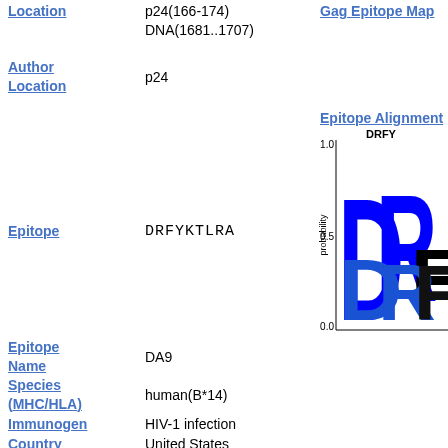Location
p24(166-174)
DNA(1681..1707)
Gag Epitope Map
Author Location
p24
Epitope Alignment
[Figure (other): Sequence logo showing DRFY... amino acids with probability on y-axis (0.0 to 1.0). Large blue D, R and black F, Y letters visible.]
Epitope
DRFYKTLRA
Epitope Name
DA9
Species (MHC/HLA)
human(B*14)
Immunogen
HIV-1 infection
Country
United States